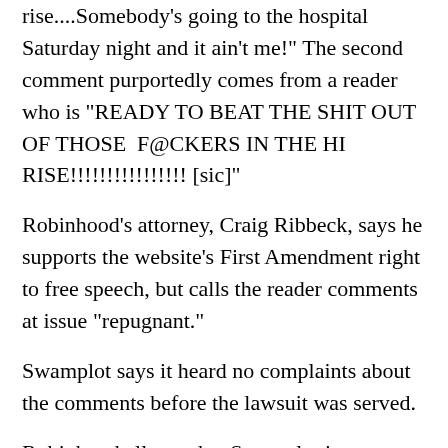rise....Somebody's going to the hospital Saturday night and it ain't me!" The second comment purportedly comes from a reader who is "READY TO BEAT THE SHIT OUT OF THOSE  F@CKERS IN THE HI RISE!!!!!!!!!!!!!!!! [sic]"
Robinhood's attorney, Craig Ribbeck, says he supports the website's First Amendment right to free speech, but calls the reader comments at issue "repugnant."
Swamplot says it heard no complaints about the comments before the lawsuit was served.
Robinhood alleges that Swamplot is responsible for the user-generated comments because "Swamplot.com monitors, pre-screens and/or pre-approves the interactive areas of the site and claims to be updated regularly."
Of the comments in question, a source at Swamplot who